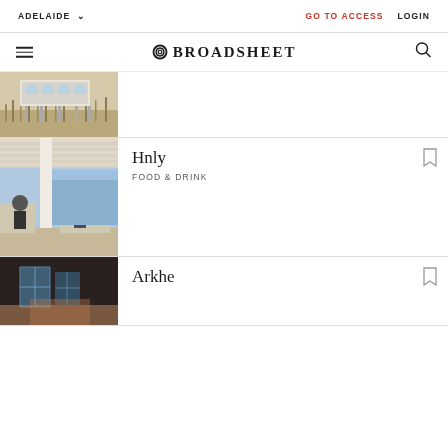ADELAIDE  GO TO ACCESS  LOGIN
BROADSHEET
[Figure (photo): Photograph of a raised beach house structure on stilts with dry grassy foreground, cropped at top]
[Figure (photo): Interior/exterior photo of Hnly venue showing outdoor seating area under pergola roof with people dining, waterfront visible in background]
Hnly
FOOD & DRINK
[Figure (photo): Dark interior photo of Arkhe venue showing geometric skylight windows]
Arkhe